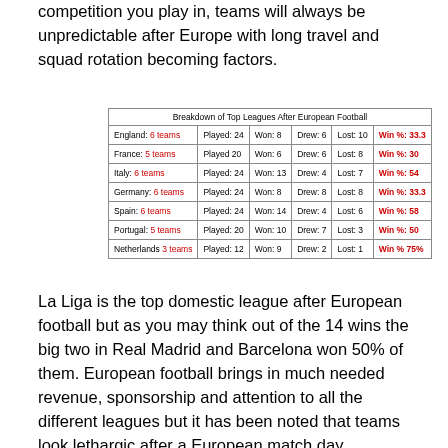competition you play in, teams will always be unpredictable after Europe with long travel and squad rotation becoming factors.
| League | Played | Won | Drew | Lost | Win % |
| --- | --- | --- | --- | --- | --- |
| England: 6 teams | Played: 24 | Won: 8 | Drew: 6 | Lost: 10 | Win %: 33.3 |
| France: 5 teams | Played 20 | Won: 6 | Drew: 6 | Lost: 8 | Win %: 30 |
| Italy: 6 teams | Played: 24 | Won: 13 | Drew: 4 | Lost: 7 | Win %: 54 |
| Germany: 6 teams | Played: 24 | Won: 8 | Drew: 8 | Lost: 8 | Win %: 33.3 |
| Spain: 6 teams | Played: 24 | Won: 14 | Drew: 4 | Lost: 6 | Win %: 58 |
| Portugal: 5 teams | Played: 20 | Won: 10 | Drew: 7 | Lost: 3 | Win %: 50 |
| Netherlands 3 teams | Played: 12 | Won: 9 | Drew: 2 | Lost: 1 | Win % 75% |
La Liga is the top domestic league after European football but as you may think out of the 14 wins the big two in Real Madrid and Barcelona won 50% of them. European football brings in much needed revenue, sponsorship and attention to all the different leagues but it has been noted that teams look lethargic after a European match day